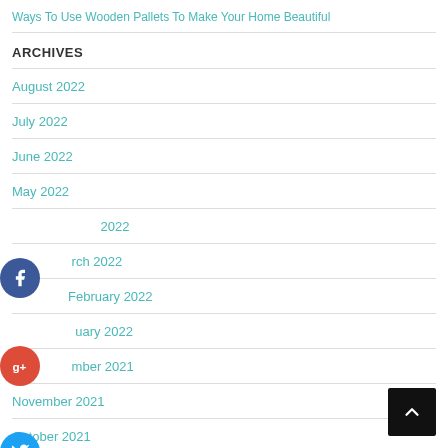Ways To Use Wooden Pallets To Make Your Home Beautiful
ARCHIVES
August 2022
July 2022
June 2022
May 2022
April 2022
March 2022
February 2022
January 2022
December 2021
November 2021
October 2021